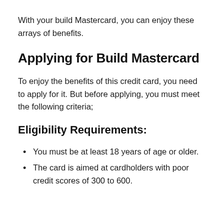With your build Mastercard, you can enjoy these arrays of benefits.
Applying for Build Mastercard
To enjoy the benefits of this credit card, you need to apply for it. But before applying, you must meet the following criteria;
Eligibility Requirements:
You must be at least 18 years of age or older.
The card is aimed at cardholders with poor credit scores of 300 to 600.